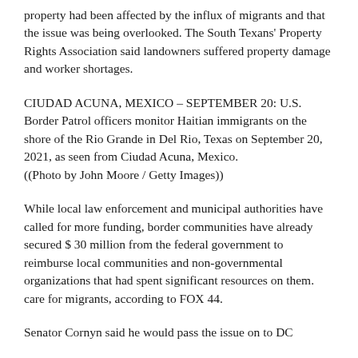property had been affected by the influx of migrants and that the issue was being overlooked. The South Texans' Property Rights Association said landowners suffered property damage and worker shortages.
CIUDAD ACUNA, MEXICO – SEPTEMBER 20: U.S. Border Patrol officers monitor Haitian immigrants on the shore of the Rio Grande in Del Rio, Texas on September 20, 2021, as seen from Ciudad Acuna, Mexico. ((Photo by John Moore / Getty Images))
While local law enforcement and municipal authorities have called for more funding, border communities have already secured $ 30 million from the federal government to reimburse local communities and non-governmental organizations that had spent significant resources on them. care for migrants, according to FOX 44.
Senator Cornyn said he would pass the issue on to DC